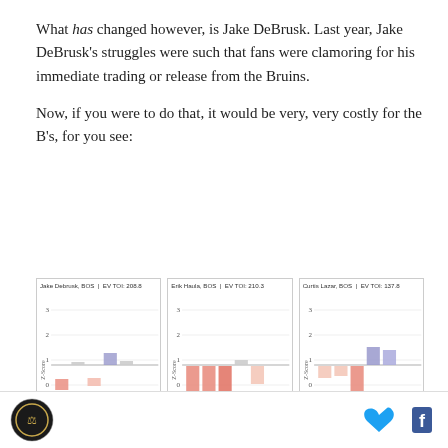What has changed however, is Jake DeBrusk. Last year, Jake DeBrusk's struggles were such that fans were clamoring for his immediate trading or release from the Bruins.
Now, if you were to do that, it would be very, very costly for the B's, for you see:
[Figure (grouped-bar-chart): Bar chart showing Z-Score statistics for Jake Debrusk, BOS with EV TOI 208.8. Several bars shown, some positive (purple/grey) and some negative (salmon/red).]
[Figure (grouped-bar-chart): Bar chart showing Z-Score statistics for Erik Haula, BOS with EV TOI 210.3. Several bars shown, mostly negative (salmon/red) with one small positive bar.]
[Figure (grouped-bar-chart): Bar chart showing Z-Score statistics for Curtis Lazar, BOS with EV TOI 137.8. Two positive bars (purple) and several negative bars (salmon/red).]